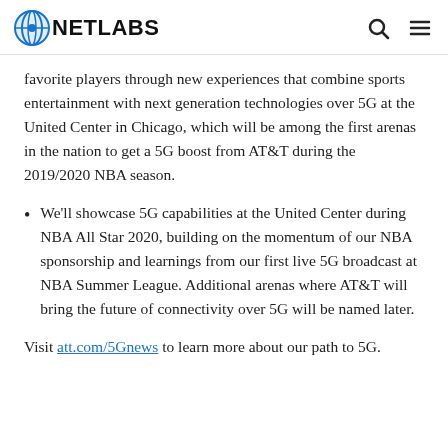CNETLABS
favorite players through new experiences that combine sports entertainment with next generation technologies over 5G at the United Center in Chicago, which will be among the first arenas in the nation to get a 5G boost from AT&T during the 2019/2020 NBA season.
We'll showcase 5G capabilities at the United Center during NBA All Star 2020, building on the momentum of our NBA sponsorship and learnings from our first live 5G broadcast at NBA Summer League. Additional arenas where AT&T will bring the future of connectivity over 5G will be named later.
Visit att.com/5Gnews to learn more about our path to 5G.